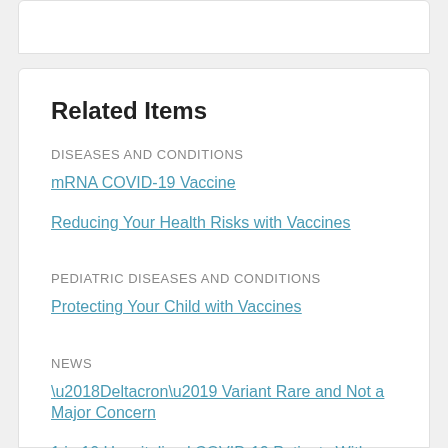Related Items
DISEASES AND CONDITIONS
mRNA COVID-19 Vaccine
Reducing Your Health Risks with Vaccines
PEDIATRIC DISEASES AND CONDITIONS
Protecting Your Child with Vaccines
NEWS
‘Deltacron’ Variant Rare and Not a Major Concern
1 in 10 Hospitalized COVID-19 Patients With Diabetes Dies: Study
1 in 10 People With COVID Still Infectious After 10 Days: